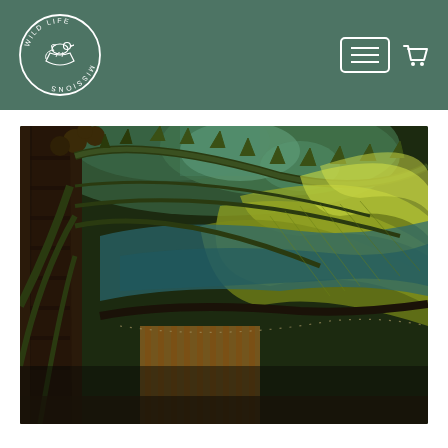[Figure (logo): Wild Life Missions circular logo with bird and boat illustration in white on sage green background]
[Figure (photo): Tropical jungle scene showing a bamboo hut structure under palm trees and large banana leaves, with dramatic green and yellow foliage overhead, dark moody lighting]